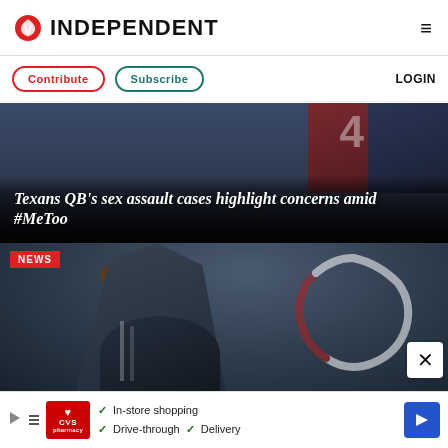INDEPENDENT
Contribute  Subscribe  LOGIN
[Figure (photo): Football player wearing jersey number 4, dark background]
Texans QB's sex assault cases highlight concerns amid #MeToo
NEWS
[Figure (photo): Houston Texans quarterback throwing football, with Texans bull logo visible in background]
[Figure (advertisement): CVS Pharmacy ad: In-store shopping, Drive-through, Delivery]